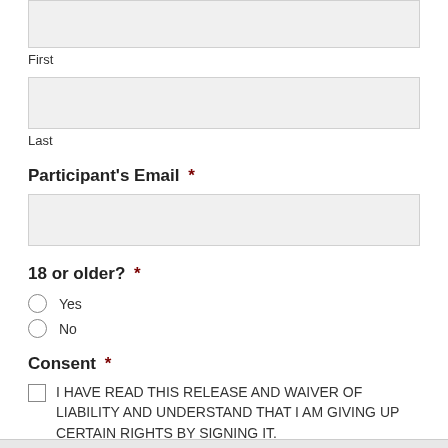First
Last
Participant's Email *
18 or older? *
Yes
No
Consent *
I HAVE READ THIS RELEASE AND WAIVER OF LIABILITY AND UNDERSTAND THAT I AM GIVING UP CERTAIN RIGHTS BY SIGNING IT.